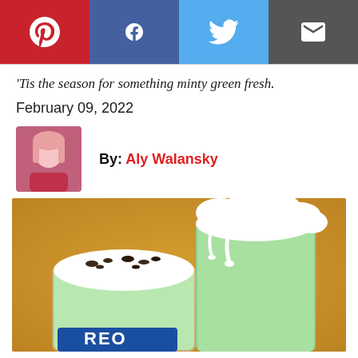[Figure (infographic): Social share bar with Pinterest (red), Facebook (dark blue), Twitter (light blue), and Email (dark grey) buttons]
'Tis the season for something minty green fresh.
February 09, 2022
[Figure (photo): Headshot of author Aly Walansky]
By: Aly Walansky
[Figure (photo): Photo of two mint green milkshakes topped with whipped cream, one with Oreo crumbles, on a gold background]